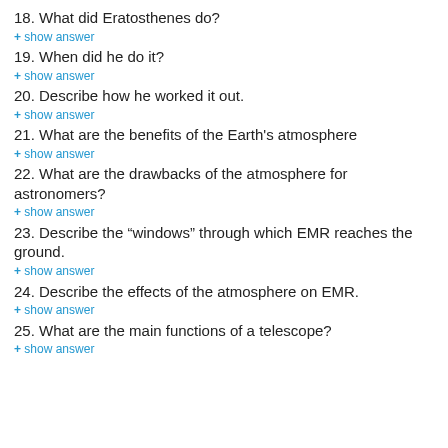18. What did Eratosthenes do?
+ show answer
19. When did he do it?
+ show answer
20. Describe how he worked it out.
+ show answer
21. What are the benefits of the Earth's atmosphere
+ show answer
22. What are the drawbacks of the atmosphere for astronomers?
+ show answer
23. Describe the “windows” through which EMR reaches the ground.
+ show answer
24. Describe the effects of the atmosphere on EMR.
+ show answer
25. What are the main functions of a telescope?
+ show answer